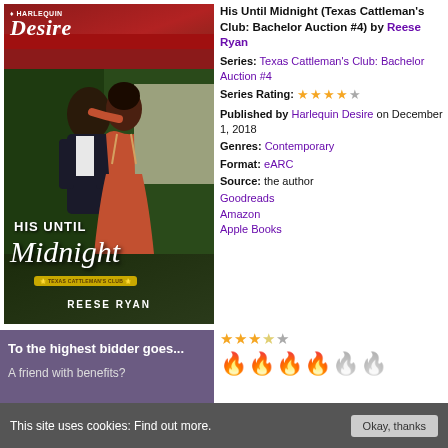[Figure (illustration): Harlequin Desire book cover for 'His Until Midnight' by Reese Ryan. Features a romantic couple — a man in a dark suit and a woman in a backless red dress — in a close embrace. The Harlequin Desire logo appears at the top, the title 'HIS UNTIL Midnight' is displayed prominently, and a Texas Cattleman's Club badge and author name 'REESE RYAN' appear at the bottom.]
His Until Midnight (Texas Cattleman's Club: Bachelor Auction #4) by Reese Ryan
Series: Texas Cattleman's Club: Bachelor Auction #4
Series Rating: ★★★★☆
Published by Harlequin Desire on December 1, 2018
Genres: Contemporary
Format: eARC
Source: the author
Goodreads
Amazon
Apple Books
Review rating: 3.5 stars out of 5, heat rating: 4 flames out of 6
To the highest bidder goes...
A friend with benefits?
This site uses cookies: Find out more.  Okay, thanks